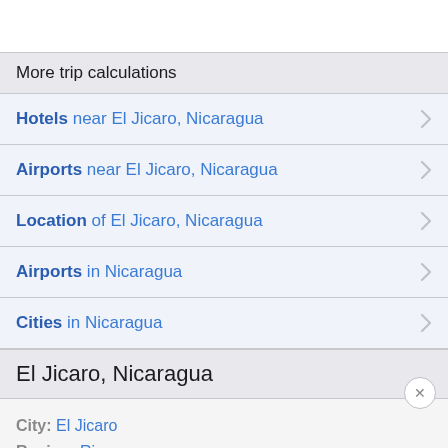More trip calculations
Hotels near El Jicaro, Nicaragua
Airports near El Jicaro, Nicaragua
Location of El Jicaro, Nicaragua
Airports in Nicaragua
Cities in Nicaragua
El Jicaro, Nicaragua
City: El Jicaro
Region: Rivas